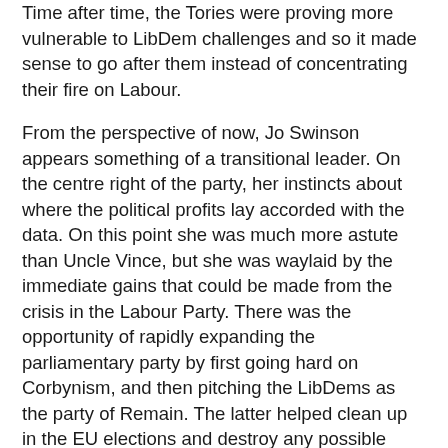Time after time, the Tories were proving more vulnerable to LibDem challenges and so it made sense to go after them instead of concentrating their fire on Labour.
From the perspective of now, Jo Swinson appears something of a transitional leader. On the centre right of the party, her instincts about where the political profits lay accorded with the data. On this point she was much more astute than Uncle Vince, but she was waylaid by the immediate gains that could be made from the crisis in the Labour Party. There was the opportunity of rapidly expanding the parliamentary party by first going hard on Corbynism, and then pitching the LibDems as the party of Remain. The latter helped clean up in the EU elections and destroy any possible space for our friends Change UK, and then induced them to split with a handful of its MPs hopping aboard a Liberal Democrats now appearing to go somewhere. Then Swinson made the catastrophic decision to adopt the Revocation of Article 50 as the selling point of the manifesto. Not for the first time, she mistook Westminster as the only place where politics happens. Her Commons strategy became the election strategy. This